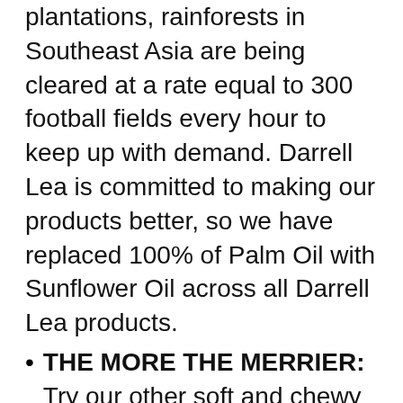plantations, rainforests in Southeast Asia are being cleared at a rate equal to 300 football fields every hour to keep up with demand. Darrell Lea is committed to making our products better, so we have replaced 100% of Palm Oil with Sunflower Oil across all Darrell Lea products.
THE MORE THE MERRIER: Try our other soft and chewy licorice flavors: Strawberry, Mango & Mixed Fruit. Perfect for sharing at parties and picnics or to enjoy as your own personal snack.
QUALITY LICORICE: Made in small batches with quality ingredients from ethical sources. Non-GMO,